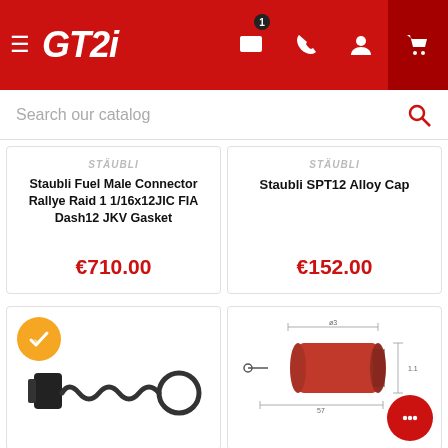[Figure (screenshot): GT2i website header with red background, hamburger menu, GT2i logo, message icon with badge 1, phone, user, and cart icons]
Search our catalog
STÄUBLI
Staubli Fuel Male Connector Rallye Raid 1 1/16x12JIC FIA Dash12 JKV Gasket
€710.00
STÄUBLI
Staubli SPT12 Alloy Cap
€152.00
[Figure (photo): Product image: black coiled spring/gasket connector part with circular ring, with yellow checkmark badge in top-left corner]
[Figure (photo): Product image: engineering diagram of a connector/coupling part in red/brown, with chat bubble icon overlay]